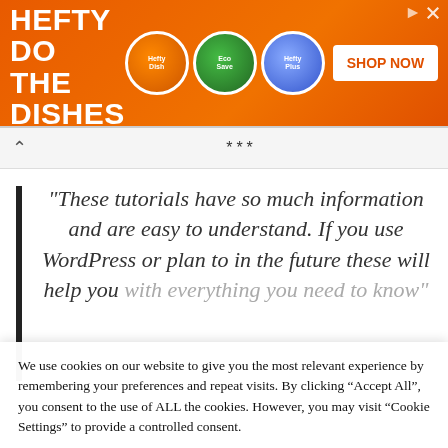[Figure (illustration): Hefty dish soap advertisement banner with orange background. Headline reads 'LET HEFTY DO THE DISHES'. Shows product bottles and 'SHOP NOW' button. Copyright 2022 Reynolds Consumer Products LLC.]
***
"These tutorials have so much information and are easy to understand. If you use WordPress or plan to in the future these will help you with everything you need to know"
We use cookies on our website to give you the most relevant experience by remembering your preferences and repeat visits. By clicking “Accept All”, you consent to the use of ALL the cookies. However, you may visit “Cookie Settings” to provide a controlled consent.
Cookie Settings
Accept All